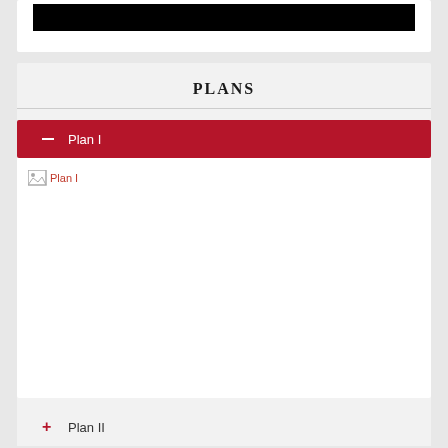[Figure (photo): Black image banner at top of page]
PLANS
Plan I
[Figure (photo): Plan I image placeholder (broken image icon labeled 'Plan I')]
Plan II